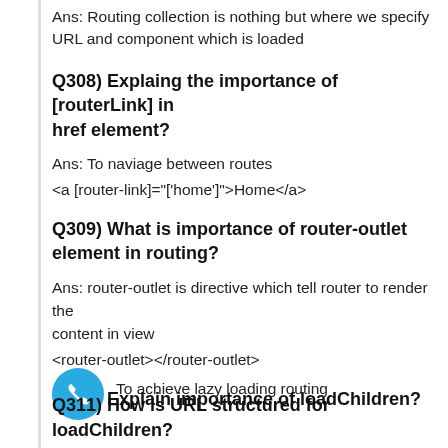Ans: Routing collection is nothing but where we specify URL and component which is loaded
Q308) Explaing the importance of [routerLink] in href element?
Ans: To naviage between routes
<a [router-link]="['home']">Home</a>
Q309) What is importance of router-outlet element in routing?
Ans: router-outlet is directive which tell router to render the content in view
<router-outlet></router-outlet>
Q310) Explain importance of loadChildren?
To achieve lazy loading routing
Q311) How is URL structured for loadChildren?